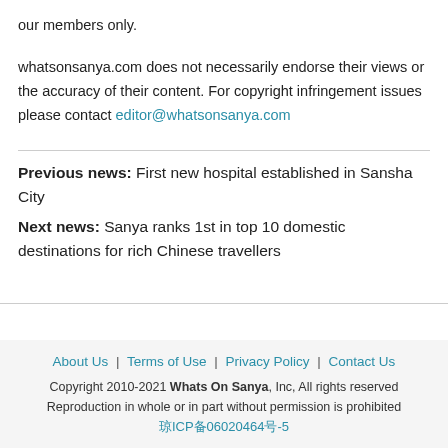our members only.
whatsonsanya.com does not necessarily endorse their views or the accuracy of their content. For copyright infringement issues please contact editor@whatsonsanya.com
Previous news: First new hospital established in Sansha City
Next news: Sanya ranks 1st in top 10 domestic destinations for rich Chinese travellers
About Us | Terms of Use | Privacy Policy | Contact Us
Copyright 2010-2021 Whats On Sanya, Inc, All rights reserved
Reproduction in whole or in part without permission is prohibited
琼ICP备06020464号-5